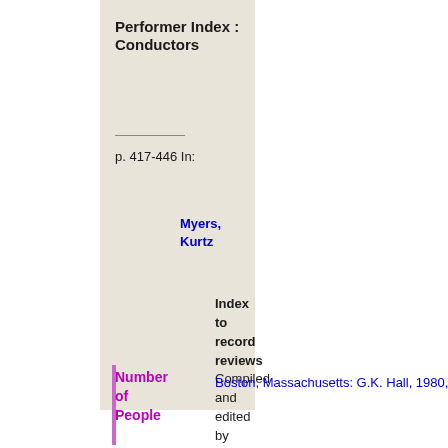Performer Index : Conductors
p. 417-446 In:
Myers, Kurtz
Index to record reviews Compiled and edited by Kurtz Myers Vol. 5: indexes
Boston, Massachusetts: G.K. Hall, 1980, 664 p.
Number of People